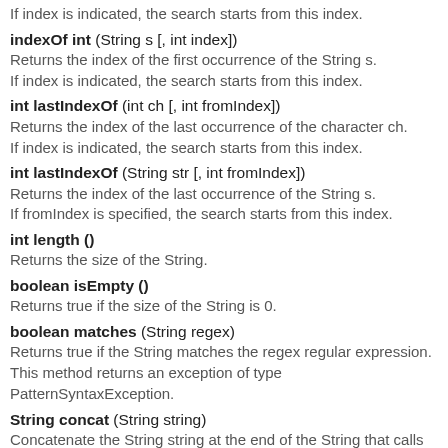If index is indicated, the search starts from this index.
indexOf int (String s [, int index])
Returns the index of the first occurrence of the String s.
If index is indicated, the search starts from this index.
int lastIndexOf (int ch [, int fromIndex])
Returns the index of the last occurrence of the character ch.
If index is indicated, the search starts from this index.
int lastIndexOf (String str [, int fromIndex])
Returns the index of the last occurrence of the String s.
If fromIndex is specified, the search starts from this index.
int length ()
Returns the size of the String.
boolean isEmpty ()
Returns true if the size of the String is 0.
boolean matches (String regex)
Returns true if the String matches the regex regular expression.
This method returns an exception of type PatternSyntaxException.
String concat (String string)
Concatenate the String string at the end of the String that calls the method.